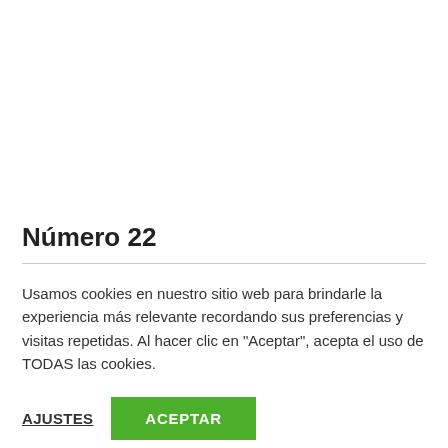Número 22
Usamos cookies en nuestro sitio web para brindarle la experiencia más relevante recordando sus preferencias y visitas repetidas. Al hacer clic en "Aceptar", acepta el uso de TODAS las cookies.
AJUSTES
ACEPTAR